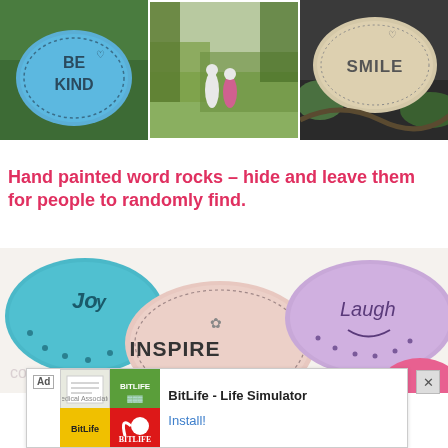[Figure (photo): Three photos in a row: left shows a blue painted rock with 'BE KIND' text on grass, center shows two girls sitting on a hilltop overlooking a valley with trees, right shows a stone painted with 'SMILE' text]
Hand painted word rocks – hide and leave them for people to randomly find.
[Figure (photo): Colorful painted rocks with words: Joy (blue), Inspire (pink center), Laugh (purple), and partial text on others, on white background]
[Figure (other): Advertisement banner for BitLife - Life Simulator app with Ad label, document preview, green and red icons with BitLife logo, install button]